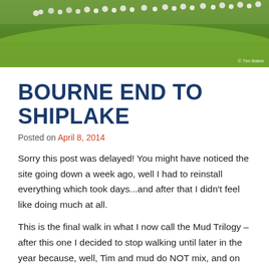[Figure (photo): Header photo of a large flock of sheep grazing on a green hillside, with a copyright notice '© Tim Baker' in the bottom right corner.]
BOURNE END TO SHIPLAKE
Posted on April 8, 2014
Sorry this post was delayed! You might have noticed the site going down a week ago, well I had to reinstall everything which took days...and after that I didn't feel like doing much at all.
This is the final walk in what I now call the Mud Trilogy – after this one I decided to stop walking until later in the year because, well, Tim and mud do NOT mix, and on all three walks I ended up in the middle of a swimming pool of mud, a